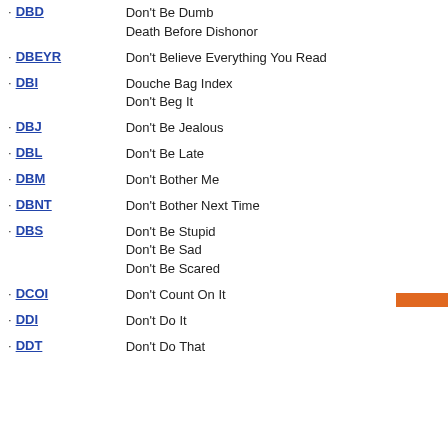DBD - Don't Be Dumb / Death Before Dishonor
DBEYR - Don't Believe Everything You Read
DBI - Douche Bag Index / Don't Beg It
DBJ - Don't Be Jealous
DBL - Don't Be Late
DBM - Don't Bother Me
DBNT - Don't Bother Next Time
DBS - Don't Be Stupid / Don't Be Sad / Don't Be Scared
DCOI - Don't Count On It
DDI - Don't Do It
DDT - Don't Do That